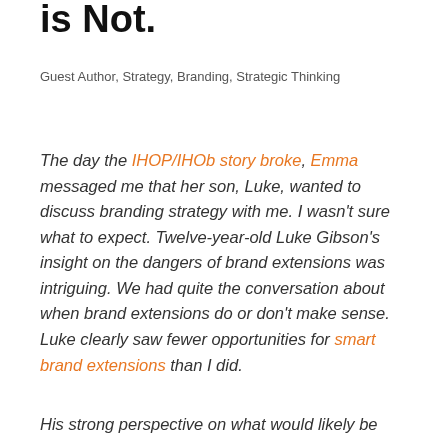is Not.
Guest Author, Strategy, Branding, Strategic Thinking
The day the IHOP/IHOb story broke, Emma messaged me that her son, Luke, wanted to discuss branding strategy with me. I wasn't sure what to expect. Twelve-year-old Luke Gibson's insight on the dangers of brand extensions was intriguing. We had quite the conversation about when brand extensions do or don't make sense. Luke clearly saw fewer opportunities for smart brand extensions than I did.
His strong perspective on what would likely be